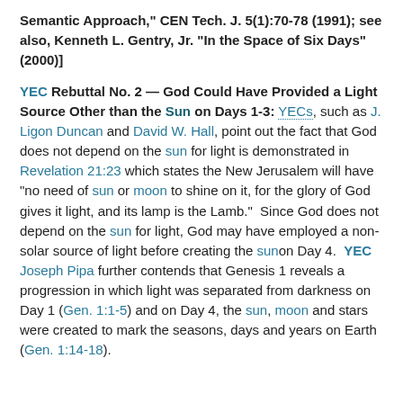Semantic Approach," CEN Tech. J. 5(1):70-78 (1991); see also, Kenneth L. Gentry, Jr. "In the Space of Six Days" (2000)]
YEC Rebuttal No. 2 — God Could Have Provided a Light Source Other than the Sun on Days 1-3: YECs, such as J. Ligon Duncan and David W. Hall, point out the fact that God does not depend on the sun for light is demonstrated in Revelation 21:23 which states the New Jerusalem will have "no need of sun or moon to shine on it, for the glory of God gives it light, and its lamp is the Lamb." Since God does not depend on the sun for light, God may have employed a non-solar source of light before creating the sun on Day 4. YEC Joseph Pipa further contends that Genesis 1 reveals a progression in which light was separated from darkness on Day 1 (Gen. 1:1-5) and on Day 4, the sun, moon and stars were created to mark the seasons, days and years on Earth (Gen. 1:14-18).